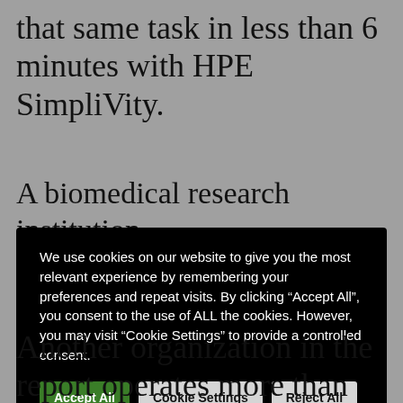that same task in less than 6 minutes with HPE SimpliVity.
A biomedical research institution
We use cookies on our website to give you the most relevant experience by remembering your preferences and repeat visits. By clicking “Accept All”, you consent to the use of ALL the cookies. However, you may visit “Cookie Settings” to provide a controlled consent.
Another organization in the report operates more than 10 resorts and supports 25 different business applications. The